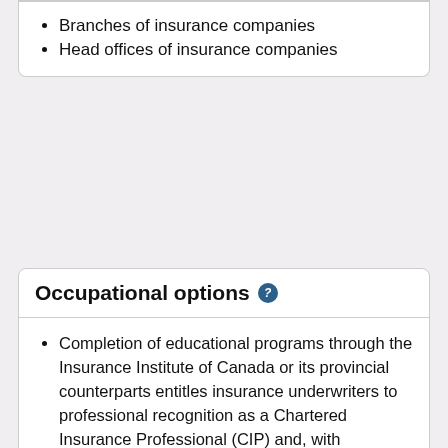Branches of insurance companies
Head offices of insurance companies
Occupational options
Completion of educational programs through the Insurance Institute of Canada or its provincial counterparts entitles insurance underwriters to professional recognition as a Chartered Insurance Professional (CIP) and, with additional university courses, as a Fellow, Chartered Insurance Professional (FCIP).
Completion of educational programs through the Insurance Institute of Canada or its provincial counterparts